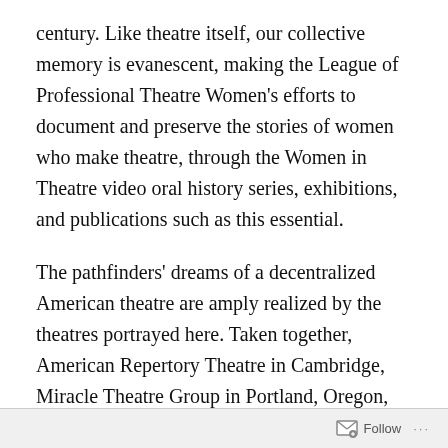century. Like theatre itself, our collective memory is evanescent, making the League of Professional Theatre Women's efforts to document and preserve the stories of women who make theatre, through the Women in Theatre video oral history series, exhibitions, and publications such as this essential.
The pathfinders' dreams of a decentralized American theatre are amply realized by the theatres portrayed here. Taken together, American Repertory Theatre in Cambridge, Miracle Theatre Group in Portland, Oregon, the Los Angeles Women's Theatre Project, the Los Angeles Female Playwrights Initiative, the Ensemble Theatre in Houston, the Hip-Hop Theatre Festival, Clubbed Thumb, the Living Theatre, and HERE Arts
Follow ···